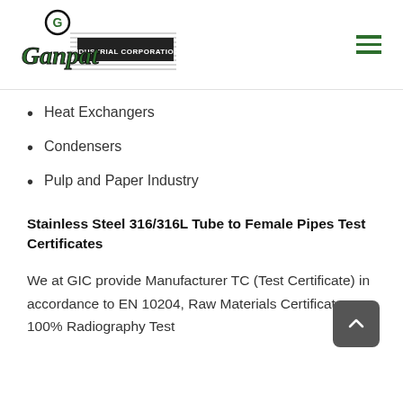[Figure (logo): Ganpat Industrial Corporation logo with green stylized text and horizontal line design, plus hamburger menu icon]
Heat Exchangers
Condensers
Pulp and Paper Industry
Stainless Steel 316/316L Tube to Female Pipes Test Certificates
We at GIC provide Manufacturer TC (Test Certificate) in accordance to EN 10204, Raw Materials Certificate, 100% Radiography Test